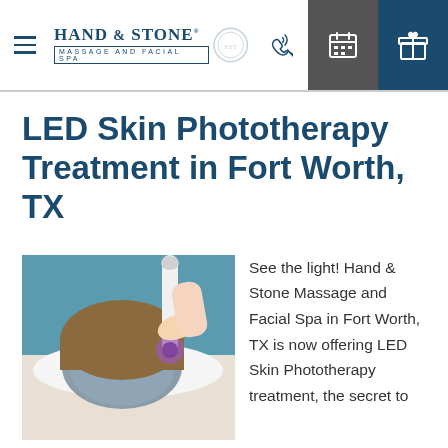Hand & Stone Massage and Facial Spa — navigation header
LED Skin Phototherapy Treatment in Fort Worth, TX
[Figure (photo): Woman lying on spa table with gray facial mask, receiving LED phototherapy treatment with purple light wand held by therapist]
See the light! Hand & Stone Massage and Facial Spa in Fort Worth, TX is now offering LED Skin Phototherapy treatment, the secret to more beautiful skin. This 50-minute breakthrough